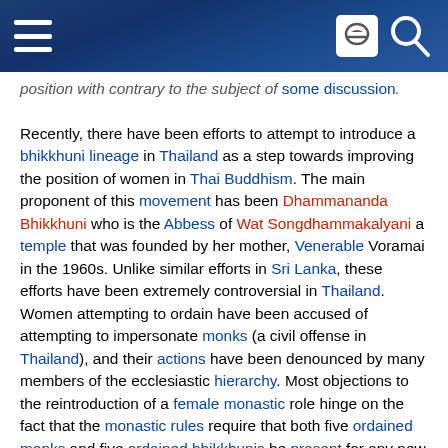Wikipedia mobile header with hamburger menu, face icon, and search icon
position with contrary to the subject of some discussion.

Recently, there have been efforts to attempt to introduce a bhikkhuni lineage in Thailand as a step towards improving the position of women in Thai Buddhism. The main proponent of this movement has been Dhammananda Bhikkhuni who is the Abbess of Wat Songdhammakalyani a temple that was founded by her mother, Venerable Voramai in the 1960s. Unlike similar efforts in Sri Lanka, these efforts have been extremely controversial in Thailand. Women attempting to ordain have been accused of attempting to impersonate monks (a civil offense in Thailand), and their actions have been denounced by many members of the ecclesiastic hierarchy. Most objections to the reintroduction of a female monastic role hinge on the fact that the monastic rules require that both five ordained monks and five ordained bhikkhunis be present for any new bhikkhuni ordination. Without such a quorum, critics say that it is not possible to ordain any new Theravada bhikkhuni. The Thai hierarchy refuses to recognize ordinations in the Taiwanese tradition (the only currently existing bhikkhuni ordination lineage) as valid Theravada ordinations, citing differences in philosophical teachings, and (more critically) monastic discipline